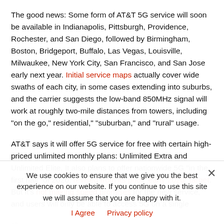The good news: Some form of AT&T 5G service will soon be available in Indianapolis, Pittsburgh, Providence, Rochester, and San Diego, followed by Birmingham, Boston, Bridgeport, Buffalo, Las Vegas, Louisville, Milwaukee, New York City, San Francisco, and San Jose early next year. Initial service maps actually cover wide swaths of each city, in some cases extending into suburbs, and the carrier suggests the low-band 850MHz signal will work at roughly two-mile distances from towers, including "on the go," residential," "suburban," and "rural" usage.
AT&T says it will offer 5G service for free with certain high-priced unlimited monthly plans: Unlimited Extra and Unlimited Elite. It also plans to offer nationwide 5G "in the first half" of 2020, revised from its prior "early 2020" target. But it's not making speed promises for the new service, and users will only be able to access 5G on a single phone...
We use cookies to ensure that we give you the best experience on our website. If you continue to use this site we will assume that you are happy with it.